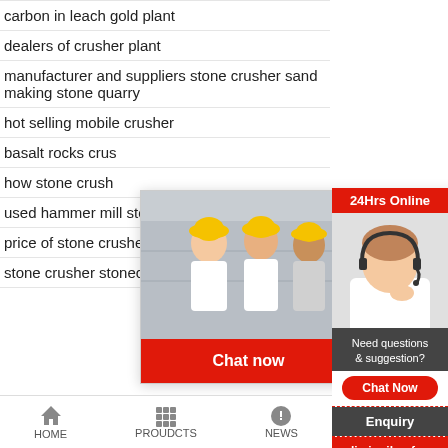carbon in leach gold plant
dealers of crusher plant
manufacturer and suppliers stone crusher sand making stone quarry
hot selling mobile crusher
basalt rocks crus
how stone crush
used hammer mill stone crusher for sale
price of stone crusher plant manufacturer in india
stone crusher stonecrushermanufacturer
[Figure (screenshot): Live chat popup overlay showing workers in yellow hard hats, LIVE CHAT text in red italic, 'Click for a Free Consultation' text, and Chat now / Chat later buttons]
[Figure (screenshot): Right sidebar with 24Hrs Online red banner, woman with headset, Need questions & suggestion? section, Chat Now button, Enquiry section, and limingjlmofen label]
HOME   PROUDCTS   NEWS   limingjlmofen